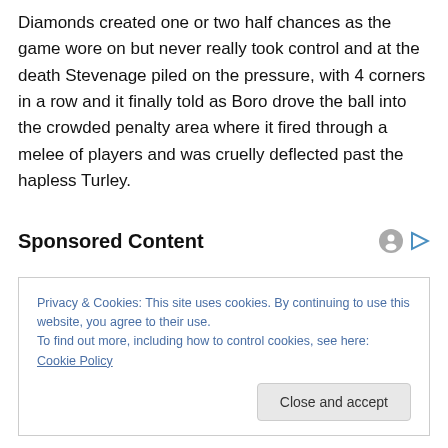Diamonds created one or two half chances as the game wore on but never really took control and at the death Stevenage piled on the pressure, with 4 corners in a row and it finally told as Boro drove the ball into the crowded penalty area where it fired through a melee of players and was cruelly deflected past the hapless Turley.
Sponsored Content
Privacy & Cookies: This site uses cookies. By continuing to use this website, you agree to their use.
To find out more, including how to control cookies, see here: Cookie Policy